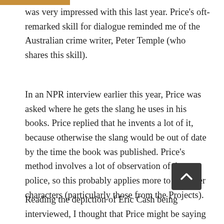was very impressed with this last year. Price's oft-remarked skill for dialogue reminded me of the Australian crime writer, Peter Temple (who shares this skill).
In an NPR interview earlier this year, Price was asked where he gets the slang he uses in his books. Price replied that he invents a lot of it, because otherwise the slang would be out of date by the time the book was published. Price's method involves a lot of observation of the police, so this probably applies more to the other characters (particularly those from the Projects).
Reading the depiction of Eric Cash being interviewed, I thought that Price might be saying that the Cops, and not just Yolonda, have ways to use more subtle forms of